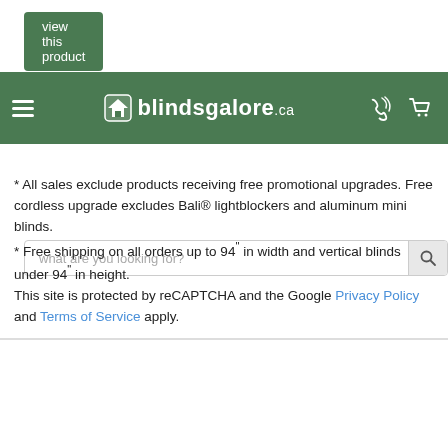view this product
[Figure (screenshot): Blindsgalore.ca website header with logo, hamburger menu, phone and cart icons]
[Figure (screenshot): Search bar with placeholder 'what are you looking for?' and magnifier button]
* All sales exclude products receiving free promotional upgrades. Free cordless upgrade excludes Bali® lightblockers and aluminum mini blinds.
* Free shipping on all orders up to 94" in width and vertical blinds under 94" in height.
This site is protected by reCAPTCHA and the Google Privacy Policy and Terms of Service apply.
get free shipping on orders to Canada* | talk to an expert toll free 1 (877) 450-1009